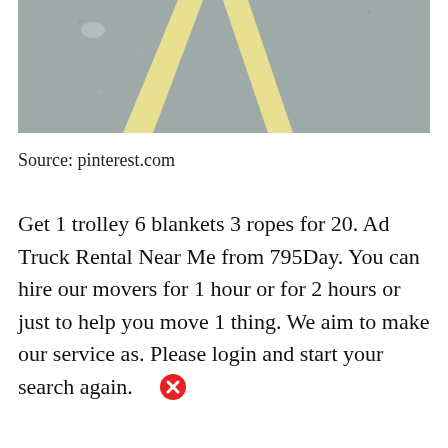[Figure (photo): A photograph of a parking lot or road surface with gray asphalt and yellow painted lines forming an inverted V shape (parking stall markings).]
Source: pinterest.com
Get 1 trolley 6 blankets 3 ropes for 20. Ad Truck Rental Near Me from 795Day. You can hire our movers for 1 hour or for 2 hours or just to help you move 1 thing. We aim to make our service as. Please login and start your search again.